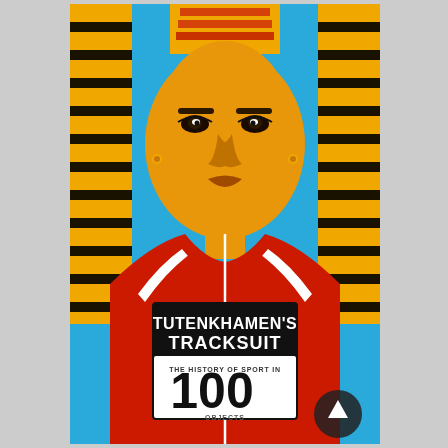[Figure (illustration): Book cover of 'Tutenkhamen's Tracksuit: The History of Sport in 100 Objects'. Shows a Tutankhamun pharaoh mask/face with gold and black striped headdress against a bright blue background, wearing a red tracksuit with white stripes and a race bib number tag reading 'TUTENKHAMEN'S TRACKSUIT / THE HISTORY OF SPORT IN 100 OBJECTS'.]